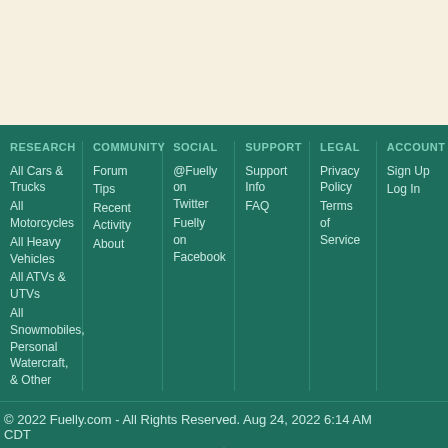RESEARCH
All Cars & Trucks
All Motorcycles
All Heavy Vehicles
All ATVs & UTVs
All Snowmobiles, Personal Watercraft, & Other
COMMUNITY
Forum
Tips
Recent Activity
About
SOCIAL
@Fuelly on Twitter
Fuelly on Facebook
SUPPORT
Support Info
FAQ
LEGAL
Privacy Policy
Terms of Service
ACCOUNT
Sign Up
Log In
© 2022 Fuelly.com - All Rights Reserved. Aug 24, 2022 6:14 AM CDT